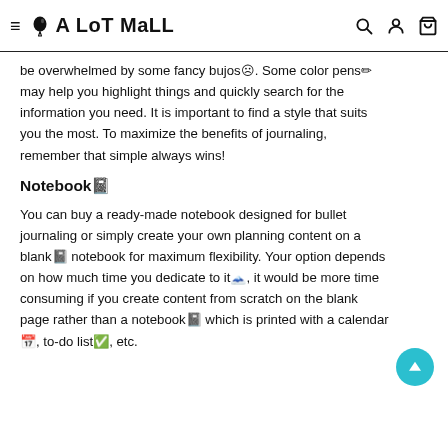≡ A LoT MaLL
be overwhelmed by some fancy bujos☹. Some color pens✏ may help you highlight things and quickly search for the information you need. It is important to find a style that suits you the most. To maximize the benefits of journaling, remember that simple always wins!
Notebook📓
You can buy a ready-made notebook designed for bullet journaling or simply create your own planning content on a blank📓 notebook for maximum flexibility. Your option depends on how much time you dedicate to it🕛, it would be more time consuming if you create content from scratch on the blank page rather than a notebook📓 which is printed with a calendar 📅, to-do list✅, etc.